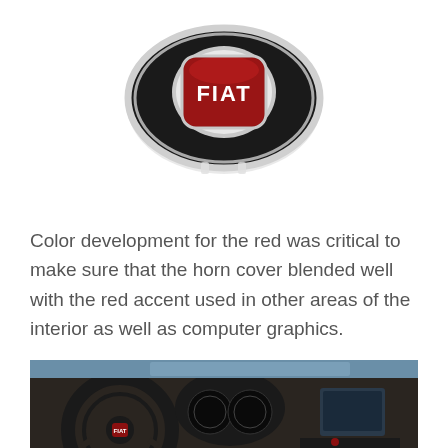[Figure (photo): Fiat wheel center cap / horn cover: a round black disc with chrome rim and a red Fiat logo badge in the center showing the word FIAT in white letters on a dark red background]
Color development for the red was critical to make sure that the horn cover blended well with the red accent used in other areas of the interior as well as computer graphics.
[Figure (photo): Interior of a Fiat 500X showing the steering wheel with Fiat logo, instrument cluster, and center console with infotainment screen and red accent details]